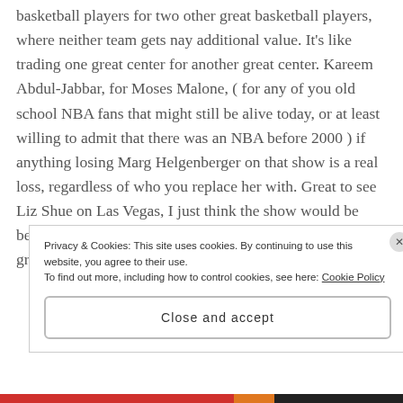basketball players for two other great basketball players, where neither team gets nay additional value. It's like trading one great center for another great center. Kareem Abdul-Jabbar, for Moses Malone, ( for any of you old school NBA fans that might still be alive today, or at least willing to admit that there was an NBA before 2000 ) if anything losing Marg Helgenberger on that show is a real loss, regardless of who you replace her with. Great to see Liz Shue on Las Vegas, I just think the show would be better with her as an addition, instead of replacing one great lead actress with another.
Privacy & Cookies: This site uses cookies. By continuing to use this website, you agree to their use.
To find out more, including how to control cookies, see here: Cookie Policy
Close and accept